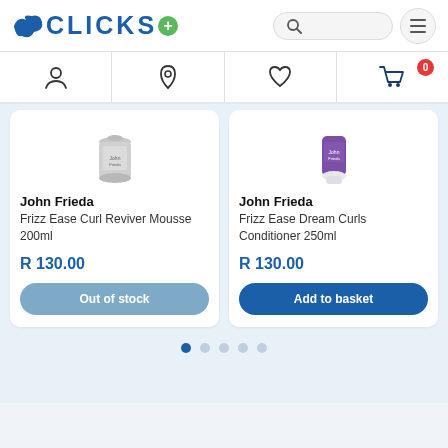CLICKS
[Figure (screenshot): Clicks pharmacy retail website screenshot showing header with logo, search, menu, navigation icons (account, location, wishlist, cart with 0 items), two product cards for John Frieda Frizz Ease products, pagination dots]
John Frieda
Frizz Ease Curl Reviver Mousse 200ml
R 130.00
Out of stock
John Frieda
Frizz Ease Dream Curls Conditioner 250ml
R 130.00
Add to basket